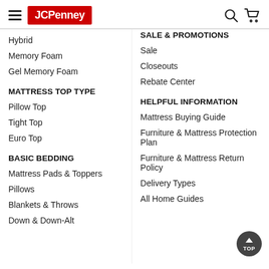[Figure (logo): JCPenney website header with hamburger menu, JCPenney red logo, search icon, and cart icon]
Hybrid
Memory Foam
Gel Memory Foam
MATTRESS TOP TYPE
Pillow Top
Tight Top
Euro Top
BASIC BEDDING
Mattress Pads & Toppers
Pillows
Blankets & Throws
Down & Down-Alt
SALE & PROMOTIONS
Sale
Closeouts
Rebate Center
HELPFUL INFORMATION
Mattress Buying Guide
Furniture & Mattress Protection Plan
Furniture & Mattress Return Policy
Delivery Types
All Home Guides